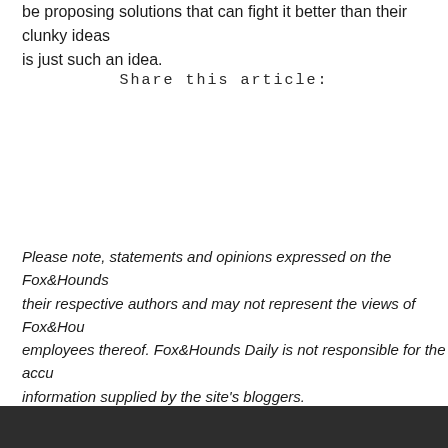be proposing solutions that can fight it better than their clunky ideas is just such an idea.
Share this article:
Please note, statements and opinions expressed on the Fox&Hounds their respective authors and may not represent the views of Fox&Hou employees thereof. Fox&Hounds Daily is not responsible for the accu information supplied by the site's bloggers.